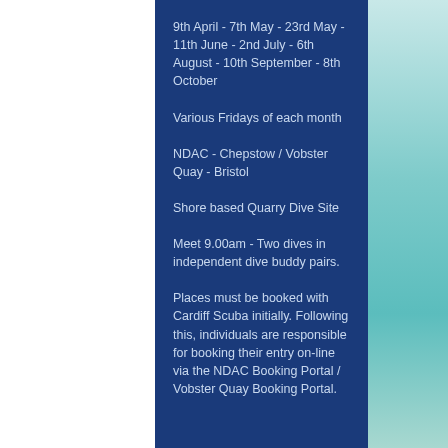9th April  - 7th May - 23rd May - 11th June - 2nd July - 6th August -  10th September - 8th October
Various Fridays of each month
NDAC - Chepstow / Vobster Quay - Bristol
Shore based Quarry Dive Site
Meet 9.00am - Two dives in independent dive buddy pairs.
Places must be booked with Cardiff Scuba initially. Following this, individuals are responsible for booking their entry on-line via the NDAC Booking Portal / Vobster Quay Booking Portal.